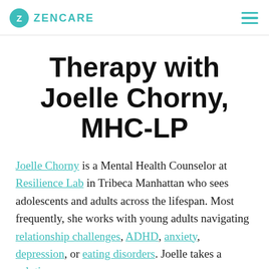ZENCARE
Therapy with Joelle Chorny, MHC-LP
Joelle Chorny is a Mental Health Counselor at Resilience Lab in Tribeca Manhattan who sees adolescents and adults across the lifespan. Most frequently, she works with young adults navigating relationship challenges, ADHD, anxiety, depression, or eating disorders. Joelle takes a solutions-